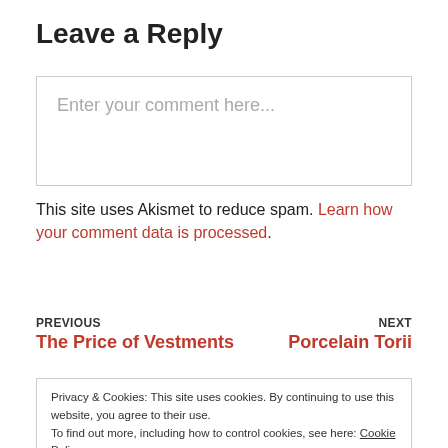Leave a Reply
Enter your comment here...
This site uses Akismet to reduce spam. Learn how your comment data is processed.
PREVIOUS
The Price of Vestments
NEXT
Porcelain Torii
Privacy & Cookies: This site uses cookies. By continuing to use this website, you agree to their use.
To find out more, including how to control cookies, see here: Cookie Policy
Close and accept